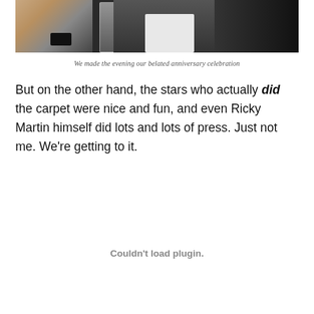[Figure (photo): Photo of people seated at a table, one person's hand visible resting on a phone, a drink with a straw nearby, people wearing dark jackets]
We made the evening our belated anniversary celebration
But on the other hand, the stars who actually did the carpet were nice and fun, and even Ricky Martin himself did lots and lots of press. Just not me. We're getting to it.
Couldn't load plugin.